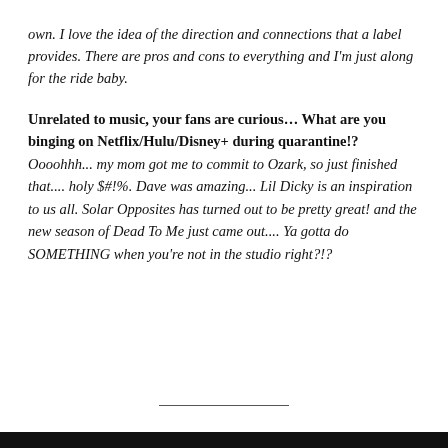own. I love the idea of the direction and connections that a label provides. There are pros and cons to everything and I'm just along for the ride baby.
Unrelated to music, your fans are curious… What are you binging on Netflix/Hulu/Disney+ during quarantine!? Oooohhh... my mom got me to commit to Ozark, so just finished that.... holy $#!%. Dave was amazing... Lil Dicky is an inspiration to us all. Solar Opposites has turned out to be pretty great! and the new season of Dead To Me just came out.... Ya gotta do SOMETHING when you're not in the studio right?!?